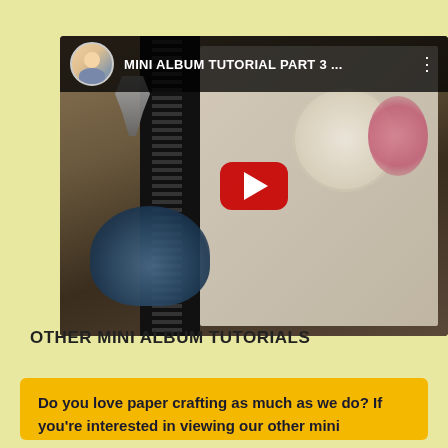[Figure (screenshot): YouTube video thumbnail showing a decorated mini album with black spine, lace detail, floral embellishments, and a play button overlay. Video title reads 'MINI ALBUM TUTORIAL PART 3 ...' with a female avatar in the top-left corner.]
OTHER MINI ALBUM TUTORIALS
Do you love paper crafting as much as we do? If you're interested in viewing our other mini